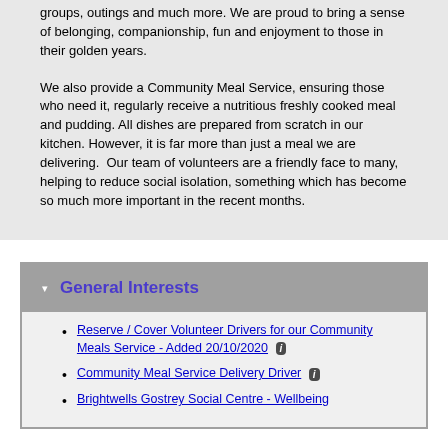groups, outings and much more. We are proud to bring a sense of belonging, companionship, fun and enjoyment to those in their golden years.
We also provide a Community Meal Service, ensuring those who need it, regularly receive a nutritious freshly cooked meal and pudding. All dishes are prepared from scratch in our kitchen. However, it is far more than just a meal we are delivering.  Our team of volunteers are a friendly face to many, helping to reduce social isolation, something which has become so much more important in the recent months.
General Interests
Reserve / Cover Volunteer Drivers for our Community Meals Service - Added 20/10/2020
Community Meal Service Delivery Driver
Brightwells Gostrey Social Centre - Wellbeing